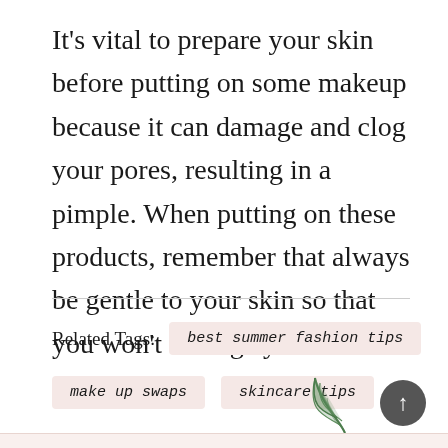It's vital to prepare your skin before putting on some makeup because it can damage and clog your pores, resulting in a pimple. When putting on these products, remember that always be gentle to your skin so that you won't damage your skin.
Related Tags:   best summer fashion tips   make up swaps   skincare tips